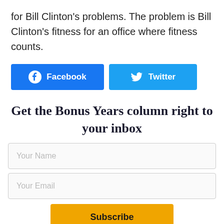for Bill Clinton’s problems. The problem is Bill Clinton’s fitness for an office where fitness counts.
[Figure (infographic): Social sharing buttons: Facebook (blue) and Twitter (light blue)]
Get the Bonus Years column right to your inbox
Your Name (input field)
Your Email (input field)
Subscribe (button)